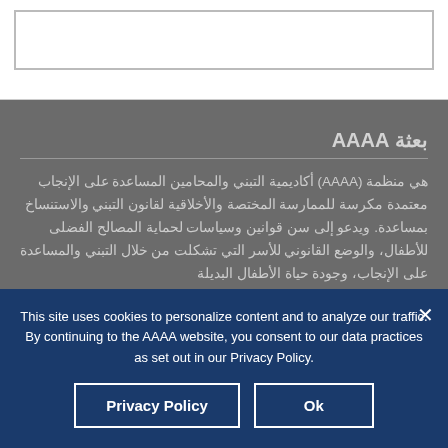بعثة AAAA
هي منظمة (AAAA) أكاديمية التبني والمحامين المساعدة على الإنجاب معتمدة مكرسة للممارسة المختصة والأخلاقية لقانون التبني والاستنساخ بمساعدة. ويدعو إلى سن قوانين وسياسات لحماية المصالح الفضلى للأطفال، والوضع القانوني للأسر التي تشكلت من خلال التبني والمساعدة على الإنجاب، وجودة حياة الأطفال البديلة
This site uses cookies to personalize content and to analyze our traffic. By continuing to the AAAA website, you consent to our data practices as set out in our Privacy Policy.
Ok
Privacy Policy